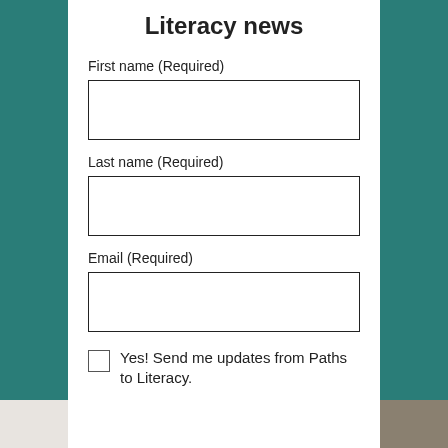Literacy news
First name (Required)
Last name (Required)
Email (Required)
Yes! Send me updates from Paths to Literacy.